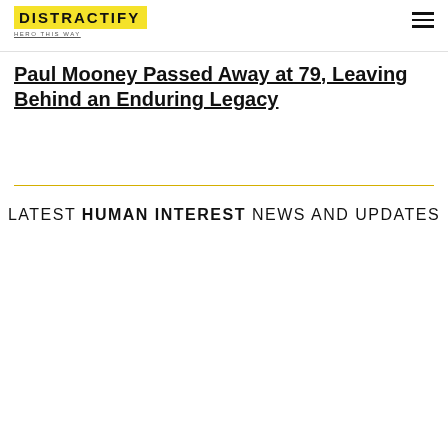DISTRACTIFY
Paul Mooney Passed Away at 79, Leaving Behind an Enduring Legacy
LATEST HUMAN INTEREST NEWS AND UPDATES